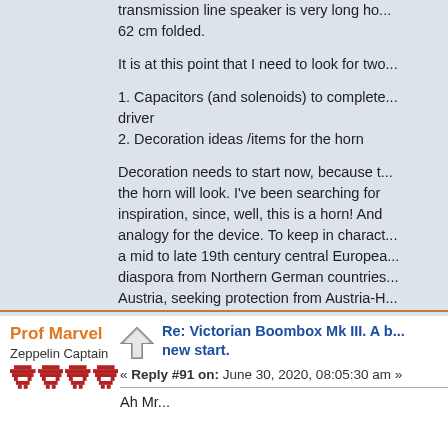transmission line speaker is very long ho... 62 cm folded.
It is at this point that I need to look for two...
1. Capacitors (and solenoids) to complete... driver
2. Decoration ideas /items for the horn
Decoration needs to start now, because the horn will look. I've been searching for inspiration, since, well, this is a horn! And analogy for the device. To keep in charact... a mid to late 19th century central Europea... diaspora from Northern German countries... Austria, seeking protection from Austria-H...
The problem is that my Google-Fu is not m... than clothes. My health issues today reall...
« Last Edit: June 30, 2020, 08:40:47 am by J. Wi...
Prof Marvel
Zeppelin Captain
Re: Victorian Boombox Mk III. A b... new start.
« Reply #91 on: June 30, 2020, 08:05:30 am »
Ah Mr...